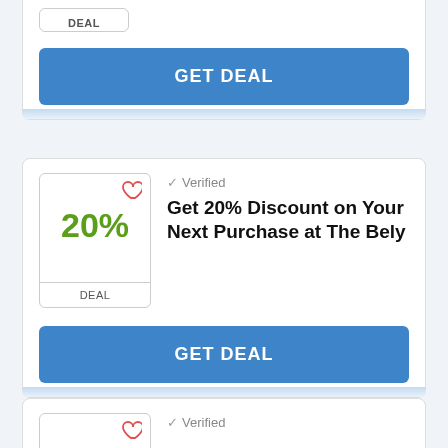DEAL
GET DEAL
✓ Verified
Get 20% Discount on Your Next Purchase at The Bely
20%
DEAL
GET DEAL
✓ Verified